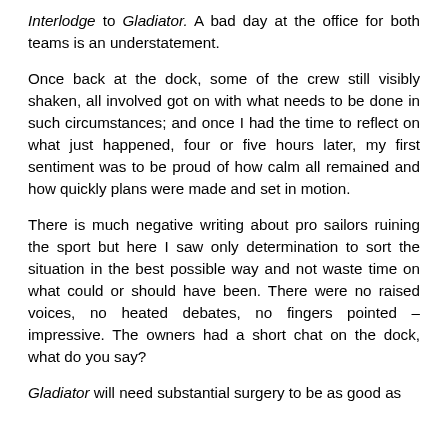Interlodge to Gladiator. A bad day at the office for both teams is an understatement.
Once back at the dock, some of the crew still visibly shaken, all involved got on with what needs to be done in such circumstances; and once I had the time to reflect on what just happened, four or five hours later, my first sentiment was to be proud of how calm all remained and how quickly plans were made and set in motion.
There is much negative writing about pro sailors ruining the sport but here I saw only determination to sort the situation in the best possible way and not waste time on what could or should have been. There were no raised voices, no heated debates, no fingers pointed – impressive. The owners had a short chat on the dock, what do you say?
Gladiator will need substantial surgery to be as good as